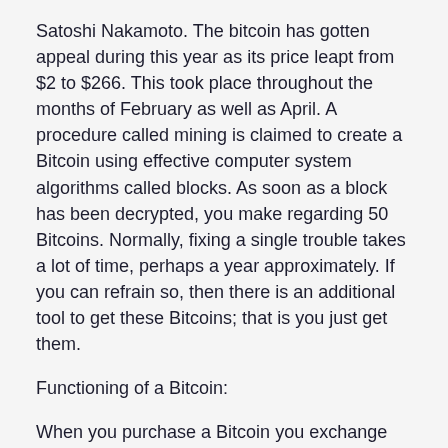Satoshi Nakamoto. The bitcoin has gotten appeal during this year as its price leapt from $2 to $266. This took place throughout the months of February as well as April. A procedure called mining is claimed to create a Bitcoin using effective computer system algorithms called blocks. As soon as a block has been decrypted, you make regarding 50 Bitcoins. Normally, fixing a single trouble takes a lot of time, perhaps a year approximately. If you can refrain so, then there is an additional tool to get these Bitcoins; that is you just get them.
Functioning of a Bitcoin:
When you purchase a Bitcoin you exchange your physical cash and obtain the digital money in type of a Bitcoin. It is extremely easy, if you wish to exchange money you need to spend for it so as to